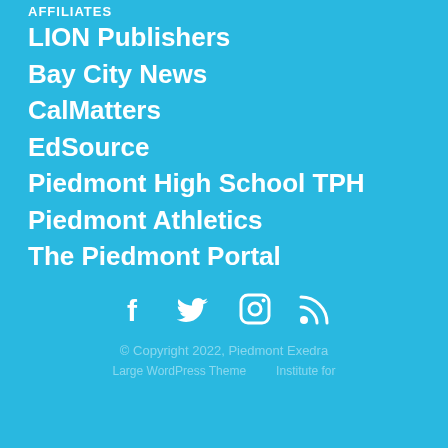AFFILIATES
LION Publishers
Bay City News
CalMatters
EdSource
Piedmont High School TPH
Piedmont Athletics
The Piedmont Portal
[Figure (infographic): Social media icons: Facebook, Twitter, Instagram, RSS feed]
© Copyright 2022, Piedmont Exedra
Large WordPress Theme ... Institute for